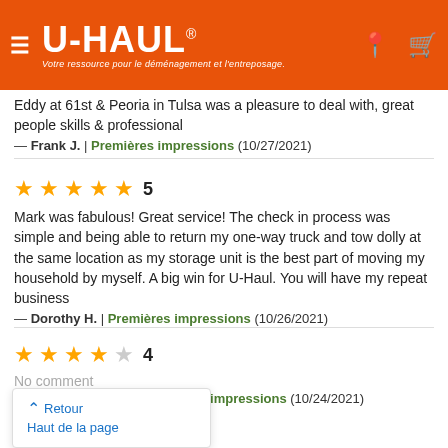U-HAUL — Votre ressource pour le déménagement et l'entreposage.
Eddy at 61st & Peoria in Tulsa was a pleasure to deal with, great people skills & professional
— Frank J. | Premières impressions (10/27/2021)
5 stars — Mark was fabulous! Great service! The check in process was simple and being able to return my one-way truck and tow dolly at the same location as my storage unit is the best part of moving my household by myself. A big win for U-Haul. You will have my repeat business
— Dorothy H. | Premières impressions (10/26/2021)
4 stars — No comment
— EVANGELINE W. | Premières impressions (10/24/2021)
Retour / Haut de la page (popup)
5 stars (partial)